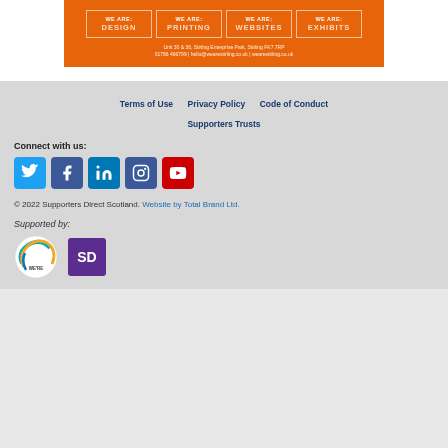[Figure (advertisement): Orange 'We Are Stirling' advertisement banner showing four boxes: WE ARE: DESIGN, WE ARE: PRINTING, WE ARE: WEBSITES, WE ARE: EXHIBITS. Address: Unit 30 & 36, Stirling Enterprise Park, Stirling FK7 7RP. 01786 466799 | hello@wearestirling.co.uk | wearestirling.co.uk]
Terms of Use   Privacy Policy   Code of Conduct   Supporters Trusts
Connect with us:
[Figure (infographic): Five social media icons in colored squares: Twitter (blue), Facebook (dark blue), LinkedIn (blue), Instagram (dark blue), YouTube (red)]
© 2022 Supporters Direct Scotland. Website by Total Brand Ltd.
Supported by:
[Figure (logo): Two logos: a circular logo with 'WE'RE' text and a purple square SD logo]